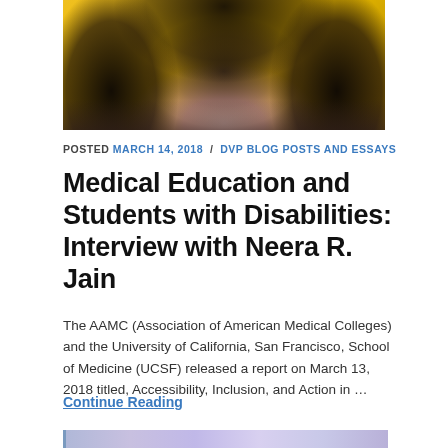[Figure (photo): Portrait photo of a woman with dark hair against a yellow background, wearing a patterned blouse]
POSTED MARCH 14, 2018 / DVP BLOG POSTS AND ESSAYS
Medical Education and Students with Disabilities: Interview with Neera R. Jain
The AAMC (Association of American Medical Colleges) and the University of California, San Francisco, School of Medicine (UCSF) released a report on March 13, 2018 titled, Accessibility, Inclusion, and Action in …
Continue Reading
[Figure (photo): Partial photo visible at bottom of page with purple/blue tones]